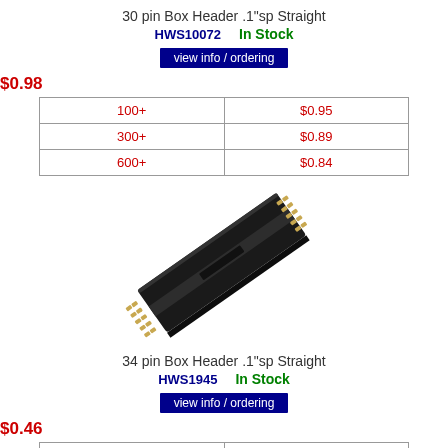30 pin Box Header .1"sp Straight
HWS10072    In Stock
view info / ordering
$0.98
| 100+ | $0.95 |
| 300+ | $0.89 |
| 600+ | $0.84 |
[Figure (photo): 34-pin box header connector, black, straight, .1 inch spacing, shown at an angle]
34 pin Box Header .1"sp Straight
HWS1945    In Stock
view info / ordering
$0.46
| 600+ | $0.45 |
| 1200+ | $0.44 |